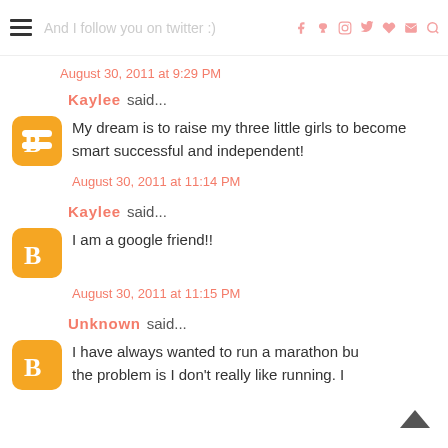And I follow you on twitter :)  [navigation icons: f, p, instagram, twitter, heart, envelope, search]
August 30, 2011 at 9:29 PM
Kaylee said...
My dream is to raise my three little girls to become smart successful and independent!
August 30, 2011 at 11:14 PM
Kaylee said...
I am a google friend!!
August 30, 2011 at 11:15 PM
Unknown said...
I have always wanted to run a marathon bu the problem is I don't really like running. I